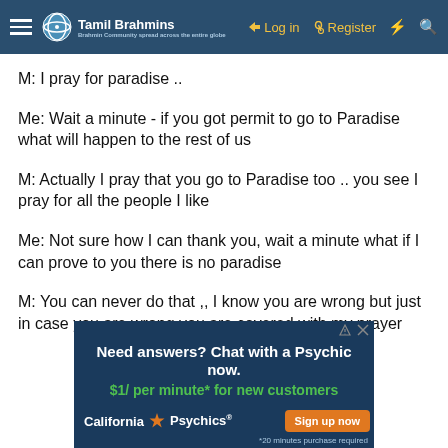Tamil Brahmins — Log in | Register
M: I pray for paradise ..
Me: Wait a minute - if you got permit to go to Paradise what will happen to the rest of us
M: Actually I pray that you go to Paradise too .. you see I pray for all the people I like
Me: Not sure how I can thank you, wait a minute what if I can prove to you there is no paradise
M: You can never do that ,, I know you are wrong but just in case you are wrong you are covered with my prayer
[Figure (screenshot): Advertisement banner for California Psychics: 'Need answers? Chat with a Psychic now. $1/ per minute* for new customers. Sign up now. *20 minutes purchase required']